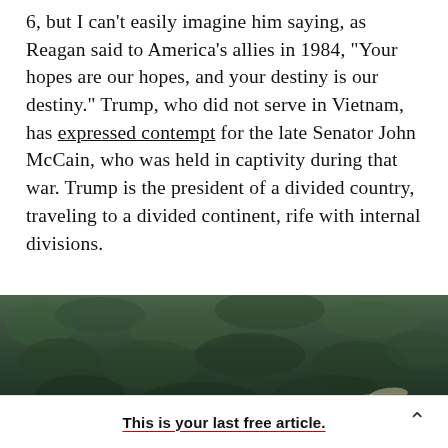6, but I can't easily imagine him saying, as Reagan said to America's allies in 1984, "Your hopes are our hopes, and your destiny is our destiny." Trump, who did not serve in Vietnam, has expressed contempt for the late Senator John McCain, who was held in captivity during that war. Trump is the president of a divided country, traveling to a divided continent, rife with internal divisions.
[Figure (photo): Aerial or close-up photograph of dense green foliage or forest canopy, dark tones, with a small light-colored highlight visible near the bottom right.]
This is your last free article.